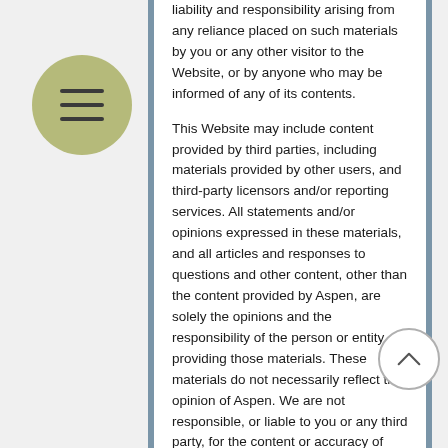liability and responsibility arising from any reliance placed on such materials by you or any other visitor to the Website, or by anyone who may be informed of any of its contents.
This Website may include content provided by third parties, including materials provided by other users, and third-party licensors and/or reporting services. All statements and/or opinions expressed in these materials, and all articles and responses to questions and other content, other than the content provided by Aspen, are solely the opinions and the responsibility of the person or entity providing those materials. These materials do not necessarily reflect the opinion of Aspen. We are not responsible, or liable to you or any third party, for the content or accuracy of any materials provided by any third parties.
Changes to the Website
We may update the content on this